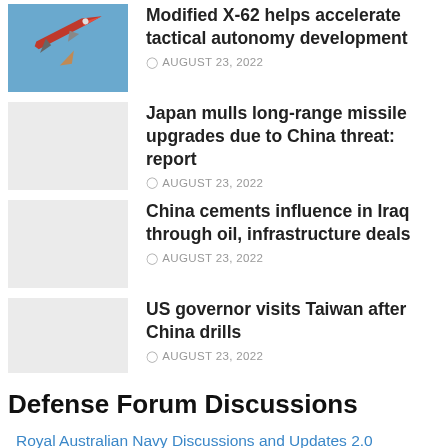[Figure (photo): Fighter jet (F-16 type) flying against blue sky]
Modified X-62 helps accelerate tactical autonomy development
AUGUST 23, 2022
[Figure (photo): Placeholder thumbnail for missile article]
Japan mulls long-range missile upgrades due to China threat: report
AUGUST 23, 2022
[Figure (photo): Placeholder thumbnail for China Iraq article]
China cements influence in Iraq through oil, infrastructure deals
AUGUST 23, 2022
[Figure (photo): Placeholder thumbnail for Taiwan article]
US governor visits Taiwan after China drills
AUGUST 23, 2022
Defense Forum Discussions
Royal Australian Navy Discussions and Updates 2.0